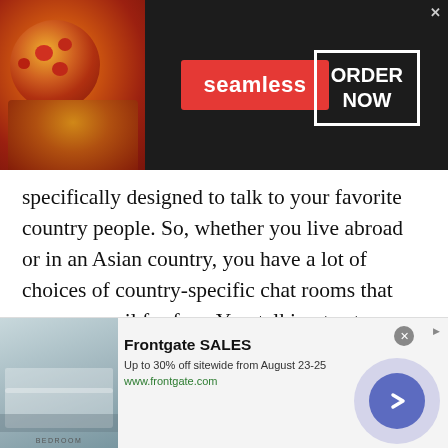[Figure (screenshot): Seamless food delivery advertisement banner with pizza image on left, red Seamless logo badge in center, and ORDER NOW button with white border on dark background]
specifically designed to talk to your favorite country people. So, whether you live abroad or in an Asian country, you have a lot of choices of country-specific chat rooms that you can avail for free. Yes, talking to strangers in Georgia via Talkwithstranger app is completely free. You can talk to strangers in Georgia, Germany, Canada, India, Pakistan, UK or wherever you live without any registration process.

An incredible list of random chat rooms at Talkwithstranger
[Figure (screenshot): Frontgate SALES advertisement: bedroom image on left, 'Frontgate SALES' title in bold, 'Up to 30% off sitewide from August 23-25', 'www.frontgate.com' URL in green, purple circle arrow button on right]